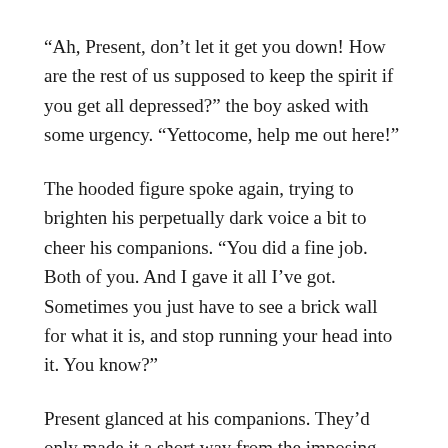“Ah, Present, don’t let it get you down! How are the rest of us supposed to keep the spirit if you get all depressed?” the boy asked with some urgency. “Yettocome, help me out here!”
The hooded figure spoke again, trying to brighten his perpetually dark voice a bit to cheer his companions. “You did a fine job. Both of you. And I gave it all I’ve got. Sometimes you just have to see a brick wall for what it is, and stop running your head into it. You know?”
Present glanced at his companions. They’d only made it a short way from the imposing structure, sloshing as they were over the muddy ground. “Maybe we should go back in there. Give it one